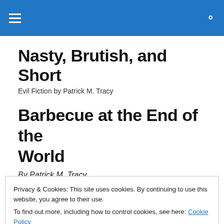Nasty, Brutish, and Short
Evil Fiction by Patrick M. Tracy
Barbecue at the End of the World
By Patrick M. Tracy
Privacy & Cookies: This site uses cookies. By continuing to use this website, you agree to their use.
To find out more, including how to control cookies, see here: Cookie Policy
and make 'em fly right. Didn't care that much, one way or